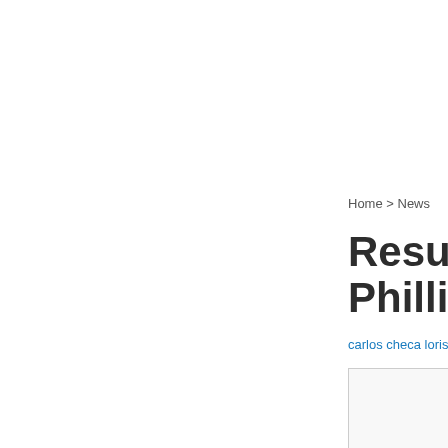Home > News
Results R Phillip Isl
carlos checa loris baz sylv
[Figure (photo): Partially visible image box with light grey background and border]